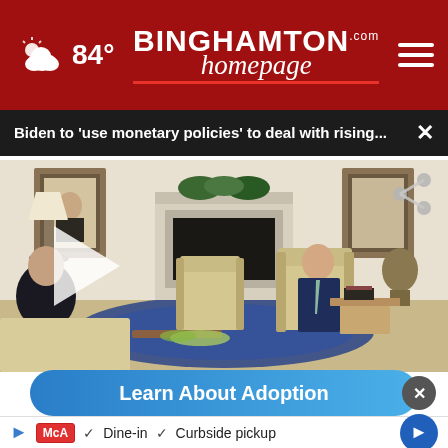84° — Binghamton Homepage
Biden to 'use monetary policies' to deal with rising...
[Figure (screenshot): Video still of President Biden seated in the Oval Office with another person, with a play button overlay. Fireplace visible in background.]
Learn About Adoption
Dine-in  ✓  Curbside pickup